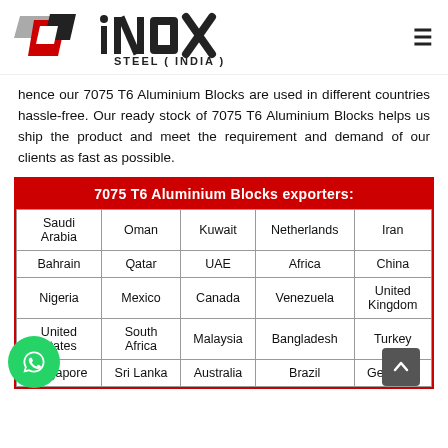[Figure (logo): iNOX Steel (India) logo with geometric diamond shape in grey, red, and black, and bold iNOX text with STEEL (INDIA) subtitle]
hence our 7075 T6 Aluminium Blocks are used in different countries hassle-free. Our ready stock of 7075 T6 Aluminium Blocks helps us ship the product and meet the requirement and demand of our clients as fast as possible.
| 7075 T6 Aluminium Blocks exporters: |
| --- |
| Saudi Arabia | Oman | Kuwait | Netherlands | Iran |
| Bahrain | Qatar | UAE | Africa | China |
| Nigeria | Mexico | Canada | Venezuela | United Kingdom |
| United States | South Africa | Malaysia | Bangladesh | Turkey |
| Singapore | Sri Lanka | Australia | Brazil | Germany |